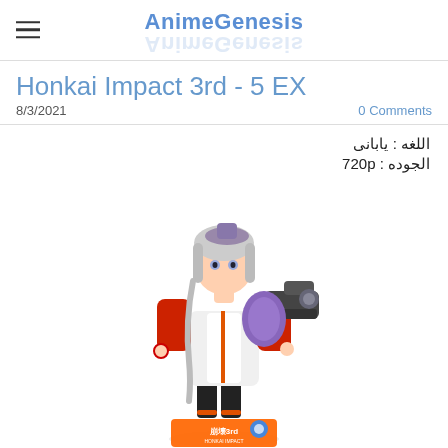AnimeGenesis
Honkai Impact 3rd - 5 EX
8/3/2021    0 Comments
اللغه : يابانی
الجوده : 720p
[Figure (illustration): Anime character from Honkai Impact 3rd - a girl with silver/white hair wearing a white and red jacket, holding a large gun, with the Honkai Impact logo at the bottom]